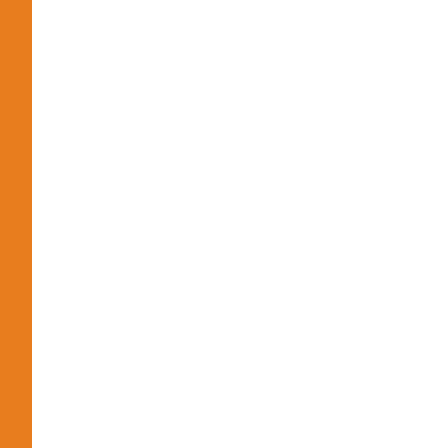| No. | Date | Description |
| --- | --- | --- |
| 141. | 17/01/2022 | BE Chemica... |
| 142. | 17/01/2022 | BE Chemica... |
| 143. | 17/01/2022 | BE Chemica... Mathematics... |
| 144. | 17/01/2022 | MSc. Industr... Calculations... |
| 145. | 17/01/2022 | ME Chemica... Control and A... |
| 146. | 17/01/2022 | BE Chemica... Dynamics an... |
| 147. | 17/01/2022 | BE Chemica... and Excellen... |
| 148. | 12/01/2022 | SOP of End... |
| 149. | 12/01/2022 | Mid Term Ex... |
| 150. | 12/01/2022 | Reviseed Ex... |
| 151. | 12/01/2022 | Reviseed Ex... |
| 152. | 11/01/2022 | Revised exte... |
| 153. | 11/01/2022 | Odd Semest... |
| 154. | 05/01/2022 | Award of thr... |